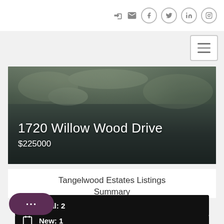Navigation icons: login, email, facebook, twitter, linkedin, instagram
[Figure (screenshot): Hamburger menu icon button with three horizontal lines]
[Figure (photo): Outdoor photo showing a driveway/road with trees casting shadows, dark asphalt surface]
1720 Willow Wood Drive
$225000
Tangelwood Estates Listings Summary
Total: 2
New: 1